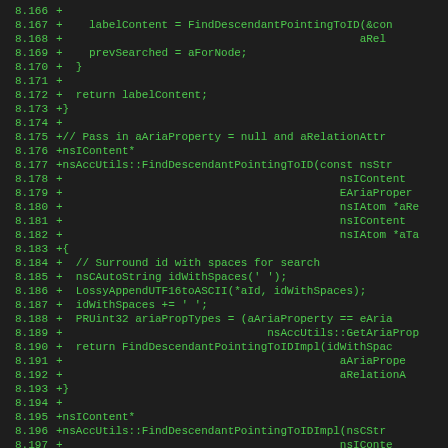[Figure (screenshot): Source code diff view showing lines 8.166 through 8.198 of a C++ file, displayed with green text on dark background. Lines show additions (+) to functions FindDescendantPointingToID and FindDescendantPointingToIDImpl in nsAccUtils namespace.]